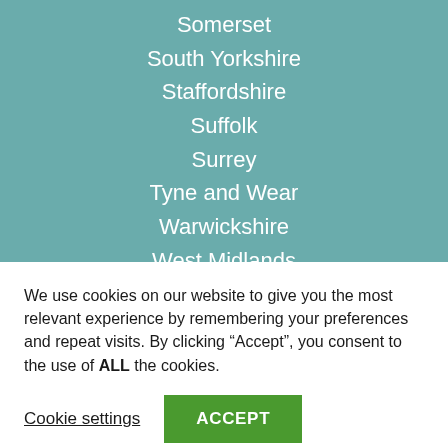Somerset
South Yorkshire
Staffordshire
Suffolk
Surrey
Tyne and Wear
Warwickshire
West Midlands
West Sussex
West Yorkshire
We use cookies on our website to give you the most relevant experience by remembering your preferences and repeat visits. By clicking “Accept”, you consent to the use of ALL the cookies.
Cookie settings
ACCEPT